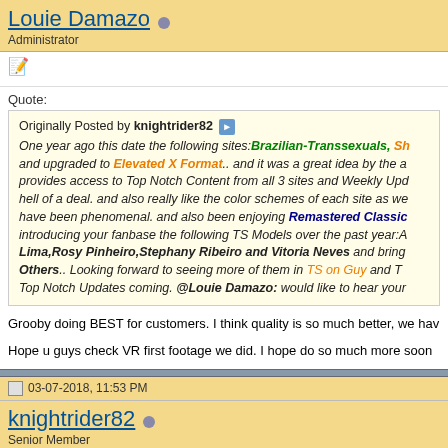Louie Damazo [online] Administrator
[toolbar icon]
Quote: Originally Posted by knightrider82 One year ago this date the following sites:Brazilian-Transsexuals, Sh... and upgraded to Elevated X Format.. and it was a great idea by the a... provides access to Top Notch Content from all 3 sites and Weekly Upd... hell of a deal. and also really like the color schemes of each site as we... have been phenomenal. and also been enjoying Remastered Classic... introducing your fanbase the following TS Models over the past year:A... Lima,Rosy Pinheiro,Stephany Ribeiro and Vitoria Neves and bring... Others.. Looking forward to seeing more of them in TS on Guy and T... Top Notch Updates coming. @Louie Damazo: would like to hear your
Grooby doing BEST for customers. I think quality is so much better, we hav...
Hope u guys check VR first footage we did. I hope do so much more soon
03-07-2018, 11:53 PM
knightrider82 [online] Senior Member
[toolbar icon]